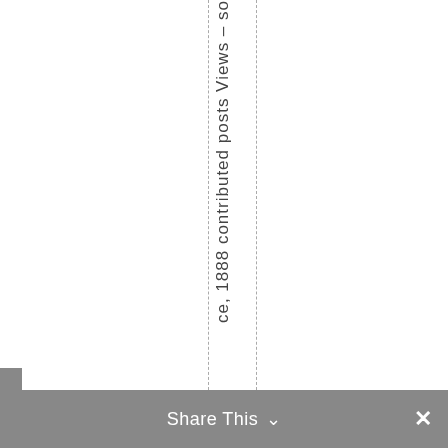ce, 1888 contributed posts Views – So
Share This ∨ ×